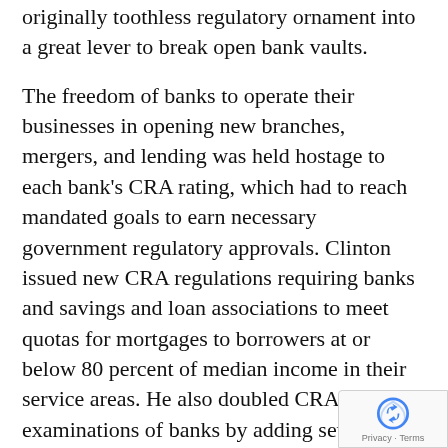originally toothless regulatory ornament into a great lever to break open bank vaults.
The freedom of banks to operate their businesses in opening new branches, mergers, and lending was held hostage to each bank's CRA rating, which had to reach mandated goals to earn necessary government regulatory approvals. Clinton issued new CRA regulations requiring banks and savings and loan associations to meet quotas for mortgages to borrowers at or below 80 percent of median income in their service areas. He also doubled CRA examinations of banks by adding several hundred bank examiners to enforce tougher CRA rules.
Clinton's HUD contributed with new regulations greatly strengthening CRA requirements, as Wallison explained in The American Spectator in February, 2009: